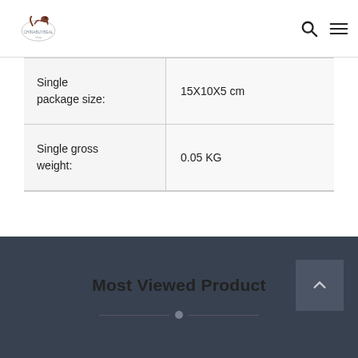CHINABUYBEAL logo with search and menu icons
| Single package size: | 15X10X5 cm |
| Single gross weight: | 0.05 KG |
Most Viewed Product